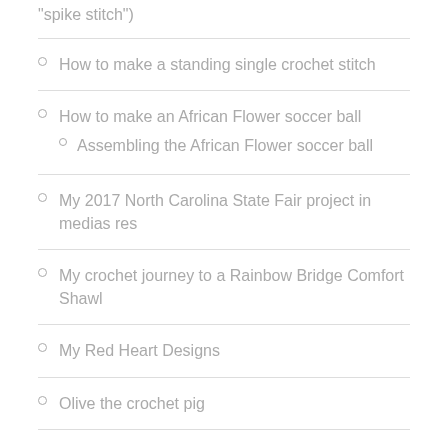“spike stitch”)
How to make a standing single crochet stitch
How to make an African Flower soccer ball
Assembling the African Flower soccer ball
My 2017 North Carolina State Fair project in medias res
My crochet journey to a Rainbow Bridge Comfort Shawl
My Red Heart Designs
Olive the crochet pig
Roseanne Reboot Granny Square free crochet pattern